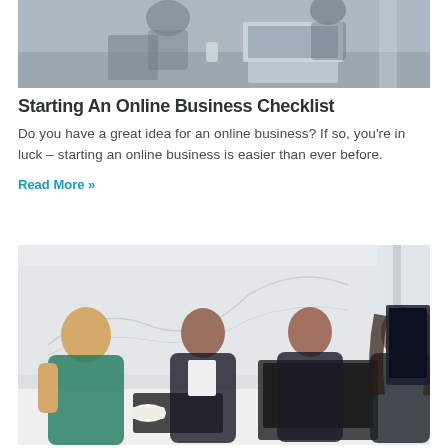[Figure (photo): Office meeting scene with people working at a table with laptops, viewed from above/angle]
Starting An Online Business Checklist
Do you have a great idea for an online business? If so, you're in luck – starting an online business is easier than ever before.
Read More »
[Figure (photo): Four women sitting around a conference table having a business meeting, with laptops and documents]